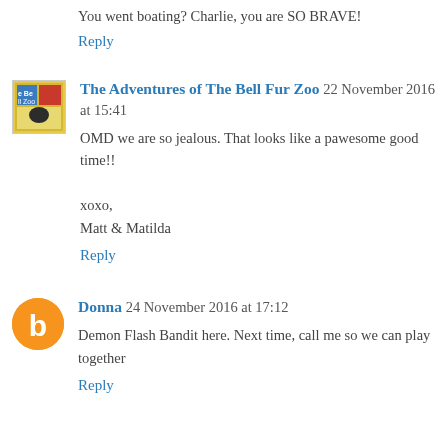You went boating? Charlie, you are SO BRAVE!
Reply
The Adventures of The Bell Fur Zoo 22 November 2016 at 15:41
OMD we are so jealous. That looks like a pawesome good time!!

xoxo,
Matt & Matilda
Reply
Donna 24 November 2016 at 17:12
Demon Flash Bandit here. Next time, call me so we can play together
Reply